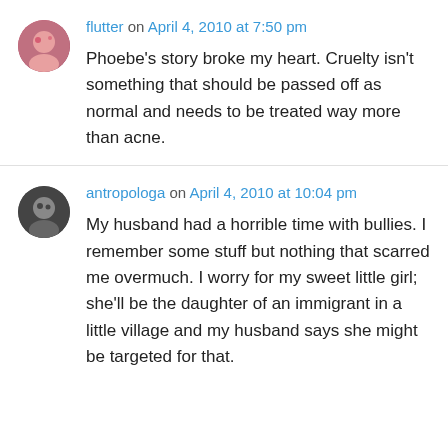flutter on April 4, 2010 at 7:50 pm
Phoebe's story broke my heart. Cruelty isn't something that should be passed off as normal and needs to be treated way more than acne.
antropologa on April 4, 2010 at 10:04 pm
My husband had a horrible time with bullies. I remember some stuff but nothing that scarred me overmuch. I worry for my sweet little girl; she'll be the daughter of an immigrant in a little village and my husband says she might be targeted for that.